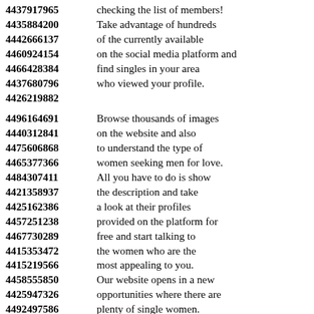4437917965 checking the list of members! 4435884200 Take advantage of hundreds 4442666137 of the currently available 4460924154 on the social media platform and 4466428384 find singles in your area 4437680796 who viewed your profile. 4426219882
4496164691 Browse thousands of images 4440312841 on the website and also 4475606868 to understand the type of 4465377366 women seeking men for love. 4484307411 All you have to do is show 4421358937 the description and take 4425162386 a look at their profiles 4457251238 provided on the platform for 4467730289 free and start talking to 4415353472 the women who are the 4415219566 most appealing to you. 4458555850 Our website opens in a new 4425947326 opportunities where there are 4492497586 plenty of single women. 4461465535 You don't need to come up with 4421778724 important words for you to 4418658708 catch the eye of those 4463513437 women for serious relationships.